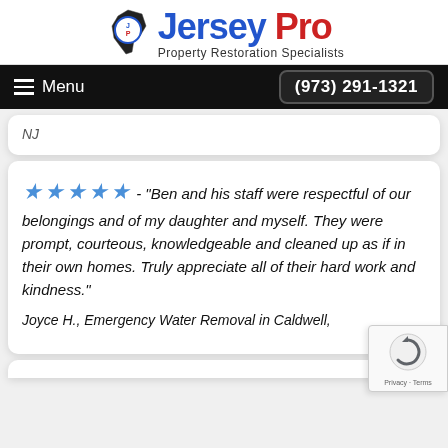[Figure (logo): Jersey Pro Property Restoration Specialists logo with NJ state silhouette icon and blue/red text]
Menu   (973) 291-1321
NJ
★★★★★ - "Ben and his staff were respectful of our belongings and of my daughter and myself. They were prompt, courteous, knowledgeable and cleaned up as if in their own homes. Truly appreciate all of their hard work and kindness."
Joyce H., Emergency Water Removal in Caldwell, NJ